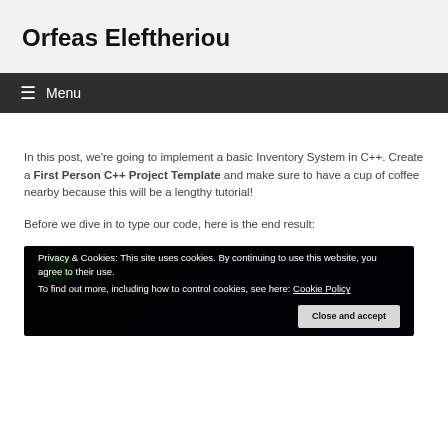Orfeas Eleftheriou
≡ Menu
In this post, we're going to implement a basic Inventory System in C++. Create a First Person C++ Project Template and make sure to have a cup of coffee nearby because this will be a lengthy tutorial!
Before we dive in to type our code, here is the end result:
[Figure (screenshot): Dark screenshot preview of a C++ game project, showing a green circle element on a dark background]
Privacy & Cookies: This site uses cookies. By continuing to use this website, you agree to their use.
To find out more, including how to control cookies, see here: Cookie Policy
Close and accept